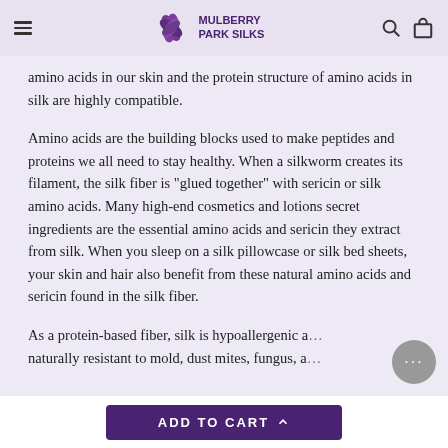Mulberry Park Silks
amino acids in our skin and the protein structure of amino acids in silk are highly compatible.
Amino acids are the building blocks used to make peptides and proteins we all need to stay healthy. When a silkworm creates its filament, the silk fiber is "glued together" with sericin or silk amino acids. Many high-end cosmetics and lotions secret ingredients are the essential amino acids and sericin they extract from silk. When you sleep on a silk pillowcase or silk bed sheets, your skin and hair also benefit from these natural amino acids and sericin found in the silk fiber.
As a protein-based fiber, silk is hypoallergenic and naturally resistant to mold, dust mites, fungus, a…